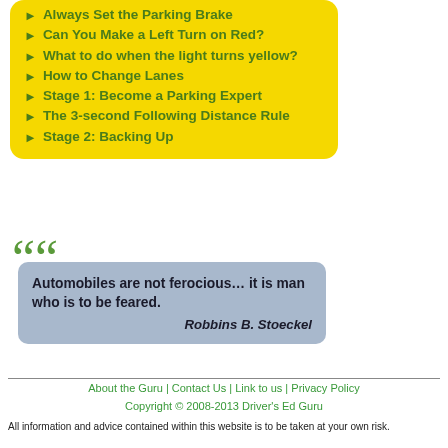Always Set the Parking Brake
Can You Make a Left Turn on Red?
What to do when the light turns yellow?
How to Change Lanes
Stage 1: Become a Parking Expert
The 3-second Following Distance Rule
Stage 2: Backing Up
Automobiles are not ferocious… it is man who is to be feared.
— Robbins B. Stoeckel
About the Guru | Contact Us | Link to us | Privacy Policy
Copyright © 2008-2013 Driver's Ed Guru
All information and advice contained within this website is to be taken at your own risk.